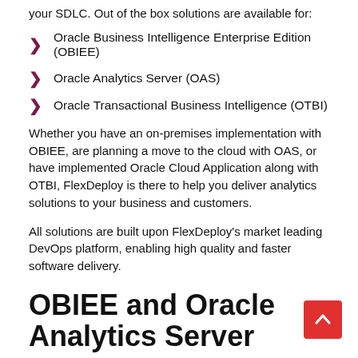your SDLC. Out of the box solutions are available for:
Oracle Business Intelligence Enterprise Edition (OBIEE)
Oracle Analytics Server (OAS)
Oracle Transactional Business Intelligence (OTBI)
Whether you have an on-premises implementation with OBIEE, are planning a move to the cloud with OAS, or have implemented Oracle Cloud Application along with OTBI, FlexDeploy is there to help you deliver analytics solutions to your business and customers.
All solutions are built upon FlexDeploy's market leading DevOps platform, enabling high quality and faster software delivery.
OBIEE and Oracle Analytics Server